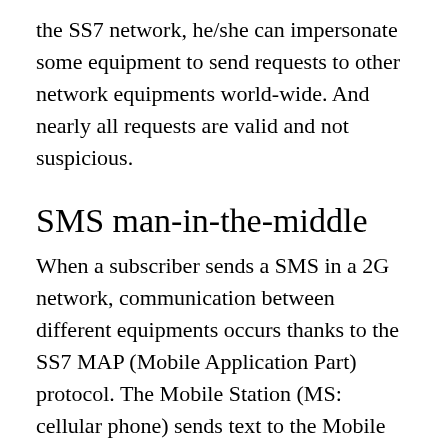the SS7 network, he/she can impersonate some equipment to send requests to other network equipments world-wide. And nearly all requests are valid and not suspicious.
SMS man-in-the-middle
When a subscriber sends a SMS in a 2G network, communication between different equipments occurs thanks to the SS7 MAP (Mobile Application Part) protocol. The Mobile Station (MS: cellular phone) sends text to the Mobile Switching Centre (MSC, routing calls and SMS) in which it is currently located, with the recipient MSISDN (telephone number) and